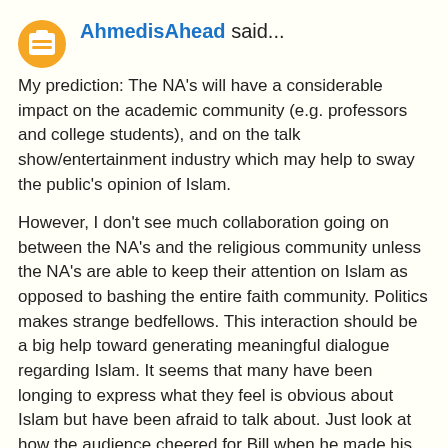AhmedisAhead said...
My prediction: The NA's will have a considerable impact on the academic community (e.g. professors and college students), and on the talk show/entertainment industry which may help to sway the public's opinion of Islam.
However, I don't see much collaboration going on between the NA's and the religious community unless the NA's are able to keep their attention on Islam as opposed to bashing the entire faith community. Politics makes strange bedfellows. This interaction should be a big help toward generating meaningful dialogue regarding Islam. It seems that many have been longing to express what they feel is obvious about Islam but have been afraid to talk about. Just look at how the audience cheered for Bill when he made his comments.
Two things will be important for the NA's to be taken seriously.
A) Credibility...